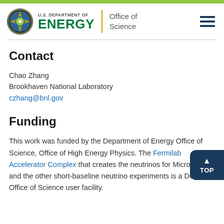[Figure (logo): U.S. Department of Energy Office of Science logo with DOE seal, ENERGY wordmark in green, and Office of Science text]
Contact
Chao Zhang
Brookhaven National Laboratory
czhang@bnl.gov
Funding
This work was funded by the Department of Energy Office of Science, Office of High Energy Physics. The Fermilab Accelerator Complex that creates the neutrinos for MicroBooNE and the other short-baseline neutrino experiments is a DOE Office of Science user facility.